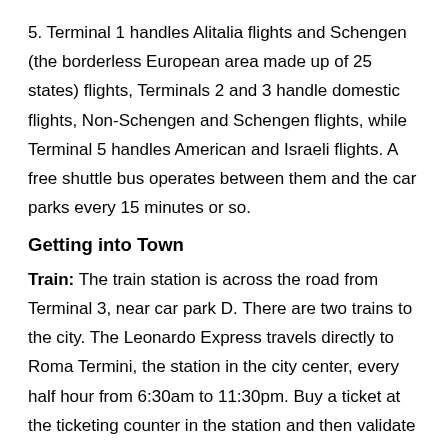5. Terminal 1 handles Alitalia flights and Schengen (the borderless European area made up of 25 states) flights, Terminals 2 and 3 handle domestic flights, Non-Schengen and Schengen flights, while Terminal 5 handles American and Israeli flights. A free shuttle bus operates between them and the car parks every 15 minutes or so.
Getting into Town
Train: The train station is across the road from Terminal 3, near car park D. There are two trains to the city. The Leonardo Express travels directly to Roma Termini, the station in the city center, every half hour from 6:30am to 11:30pm. Buy a ticket at the ticketing counter in the station and then validate it at one of the machines (the ticket will then be valid for 90 minutes). A cheaper option is the slightly slower Metro line FR1, which runs to major stations